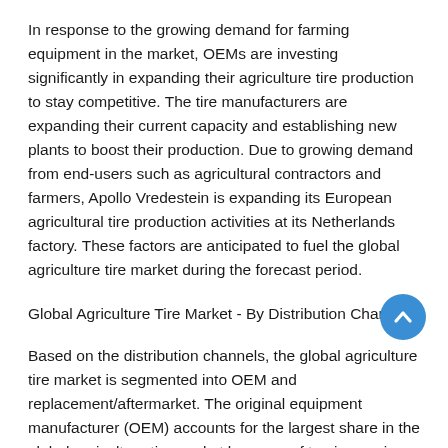In response to the growing demand for farming equipment in the market, OEMs are investing significantly in expanding their agriculture tire production to stay competitive. The tire manufacturers are expanding their current capacity and establishing new plants to boost their production. Due to growing demand from end-users such as agricultural contractors and farmers, Apollo Vredestein is expanding its European agricultural tire production activities at its Netherlands factory. These factors are anticipated to fuel the global agriculture tire market during the forecast period.
Global Agriculture Tire Market - By Distribution Channel
Based on the distribution channels, the global agriculture tire market is segmented into OEM and replacement/aftermarket. The original equipment manufacturer (OEM) accounts for the largest share in the global agriculture tire market because of the increasing demand for agricultural vehicles such as tractors, harvesters, trailers, etc. However, the replacement/aftermarket segment is projected to witness the highest growth rate during